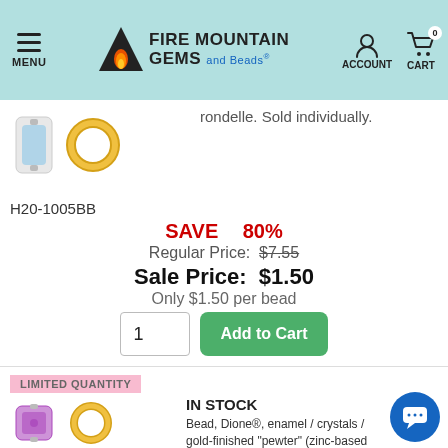MENU | FIRE MOUNTAIN GEMS and Beads | ACCOUNT | CART 0
rondelle. Sold individually.
H20-1005BB
SAVE 80%
Regular Price: $7.55
Sale Price: $1.50
Only $1.50 per bead
1  Add to Cart
LIMITED QUANTITY
IN STOCK
Bead, Dione®, enamel / crystals / gold-finished "pewter" (zinc-based alloy), lavender and crystal clear, 14x5. Sold individually.